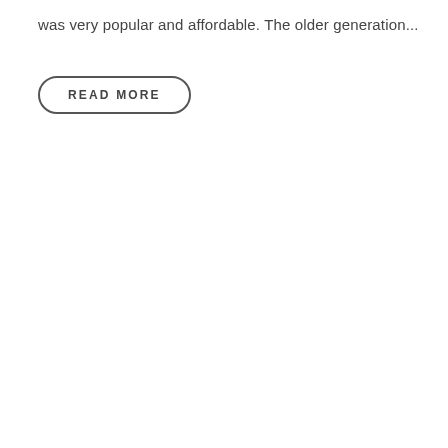was very popular and affordable. The older generation...
READ MORE